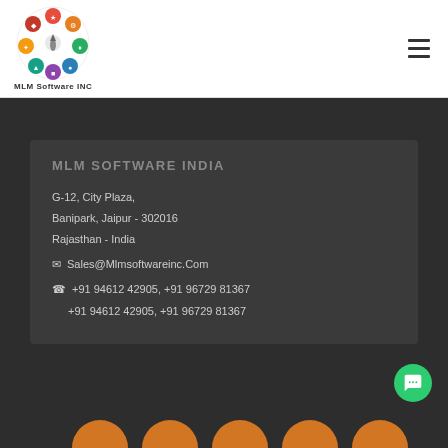[Figure (logo): MLM Software INC circular logo with colorful icons arranged in a ferris-wheel pattern]
MLM Software INC
MLM SOFTWARE INDIA
G-12, City Plaza,
Banipark, Jaipur - 302016
Rajasthan - India
✉ Sales@Mlmsoftwareinc.Com
☎ +91 94612 42905, +91 96729 81367
  +91 94612 42905, +91 96729 81367